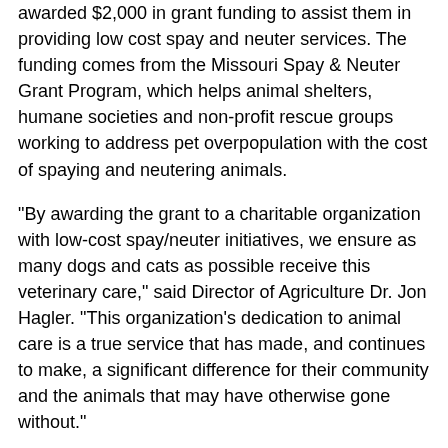awarded $2,000 in grant funding to assist them in providing low cost spay and neuter services. The funding comes from the Missouri Spay & Neuter Grant Program, which helps animal shelters, humane societies and non-profit rescue groups working to address pet overpopulation with the cost of spaying and neutering animals.
"By awarding the grant to a charitable organization with low-cost spay/neuter initiatives, we ensure as many dogs and cats as possible receive this veterinary care," said Director of Agriculture Dr. Jon Hagler. "This organization's dedication to animal care is a true service that has made, and continues to make, a significant difference for their community and the animals that may have otherwise gone without."
Since 2009, the program has awarded at least $20,000 in grants annually. This year's grants bring the total contributions through the program to more than $100,000.
PAWS, a nonprofit 501(c)(3) corporation, joins nine other groups from across Missouri which have each been awarded a $2,000 grant from the Missouri Spay & Neuter Grant Program. The grant will aid the organization's efforts to subsidize the cost of spay and neuter services to pet owners in Perry County.